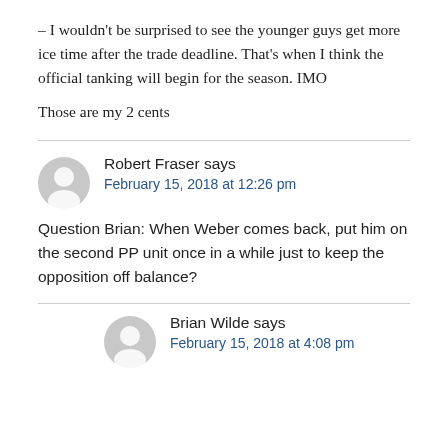– I wouldn't be surprised to see the younger guys get more ice time after the trade deadline. That's when I think the official tanking will begin for the season. IMO
Those are my 2 cents
Robert Fraser says
February 15, 2018 at 12:26 pm
Question Brian: When Weber comes back, put him on the second PP unit once in a while just to keep the opposition off balance?
Brian Wilde says
February 15, 2018 at 4:08 pm